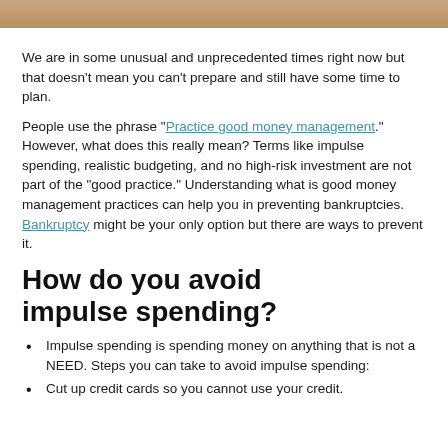[Figure (photo): Partial image strip at the top of the page, showing a warm brown/tan color, appears to be a cropped photo.]
We are in some unusual and unprecedented times right now but that doesn't mean you can't prepare and still have some time to plan.
People use the phrase "Practice good money management." However, what does this really mean?  Terms like impulse spending, realistic budgeting, and no high-risk investment are not part of the "good practice."  Understanding what is good money management practices can help you in preventing bankruptcies.  Bankruptcy might be your only option but there are ways to prevent it.
How do you avoid impulse spending?
Impulse spending is spending money on anything that is not a NEED.  Steps you can take to avoid impulse spending:
Cut up credit cards so you cannot use your credit.